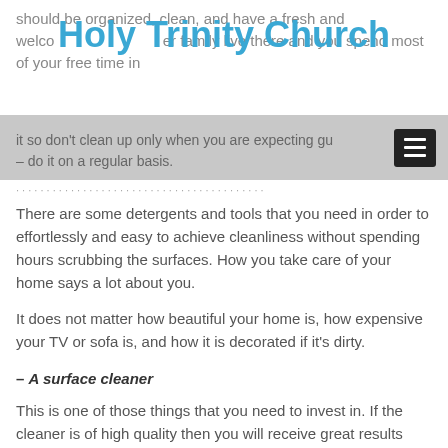Holy Trinity Church
should be organized, clean, and have a fresh and welcoming atmosphere. After all, you and your family live there and you spend most of your free time in it so don't clean up only when you are expecting guests – do it on a regular basis.
There are some detergents and tools that you need in order to effortlessly and easy to achieve cleanliness without spending hours scrubbing the surfaces. How you take care of your home says a lot about you.
It does not matter how beautiful your home is, how expensive your TV or sofa is, and how it is decorated if it's dirty.
– A surface cleaner
This is one of those things that you need to invest in. If the cleaner is of high quality then you will receive great results easily and you won't have to scrub a dirty surface. A practical step that will save you money and headaches is to buy an all-purpose cleaner with which